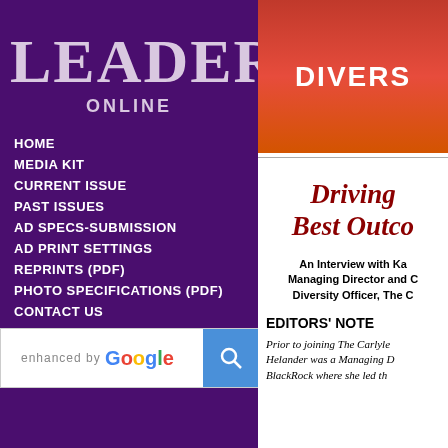LEADERS ONLINE
HOME
MEDIA KIT
CURRENT ISSUE
PAST ISSUES
AD SPECS-SUBMISSION
AD PRINT SETTINGS
REPRINTS (PDF)
PHOTO SPECIFICATIONS (PDF)
CONTACT US
[Figure (logo): Twitter and Facebook social media icons]
LOADING
enhanced by Google (search bar)
[Figure (infographic): DIVERS banner - diversity section header in red/orange gradient]
Driving Best Outco
An Interview with Ka Managing Director and C Diversity Officer, The C
EDITORS' NOTE
Prior to joining The Carlyle Helander was a Managing D BlackRock where she led th